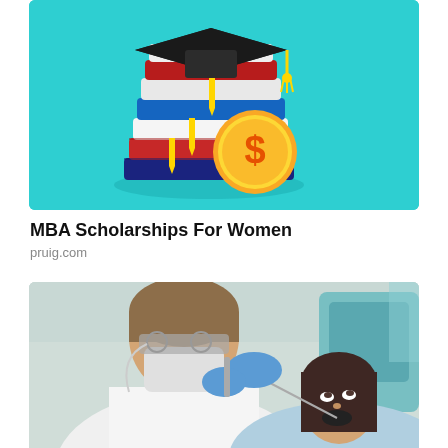[Figure (illustration): Illustration of stacked books with a graduation cap on top and a gold dollar coin in front, on a teal/turquoise background]
MBA Scholarships For Women
pruig.com
[Figure (photo): Photo of a dentist in white coat and blue gloves performing dental work on a female patient, dental clinic setting]